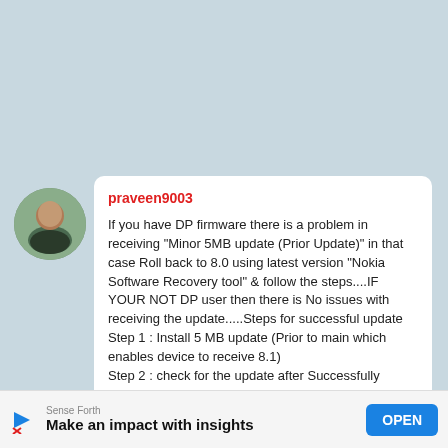[Figure (photo): Circular avatar profile photo of a person standing outdoors]
praveen9003
If you have DP firmware there is a problem in receiving "Minor 5MB update (Prior Update)" in that case Roll back to 8.0 using latest version "Nokia Software Recovery tool" & follow the steps....IF YOUR NOT DP user then there is No issues with receiving the update.....Steps for successful update
Step 1 : Install 5 MB update (Prior to main which enables device to receive 8.1)
Step 2 : check for the update after Successfully installed with prior update..
Step 3 : You will get update notification so allow it to download & follow the steps. That's it
[Figure (infographic): Advertisement banner: Sense Forth logo with play/close icons, text 'Make an impact with insights', blue OPEN button]